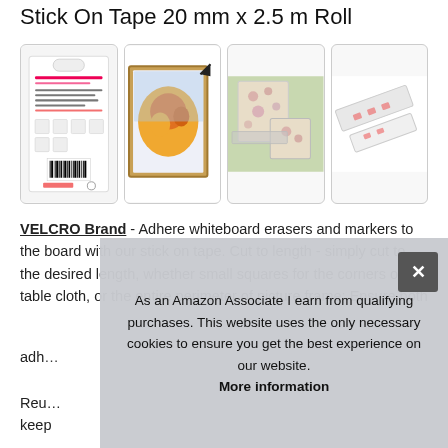Stick On Tape 20 mm x 2.5 m Roll
[Figure (photo): Row of four product thumbnail images: product packaging back, map pinned to wall, tape applied to picture frame corner, roll of white stick-on tape]
VELCRO Brand - Adhere whiteboard erasers and markers to the board with our stick on tape. Cut to length - simply cut to the desired length, whether small squares for the corners of a table cloth, or the entire perimeter of picture frame; Ensure both surfaces are clean and dry before applying the adhesive;
Reu... keep...
As an Amazon Associate I earn from qualifying purchases. This website uses the only necessary cookies to ensure you get the best experience on our website. More information